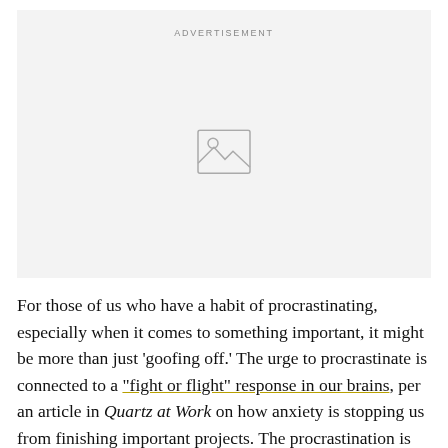[Figure (other): Advertisement placeholder box with image icon in the center and 'ADVERTISEMENT' label at the top]
For those of us who have a habit of procrastinating, especially when it comes to something important, it might be more than just ‘goofing off.’ The urge to procrastinate is connected to a “fight or flight” response in our brains, per an article in Quartz at Work on how anxiety is stopping us from finishing important projects. The procrastination is the